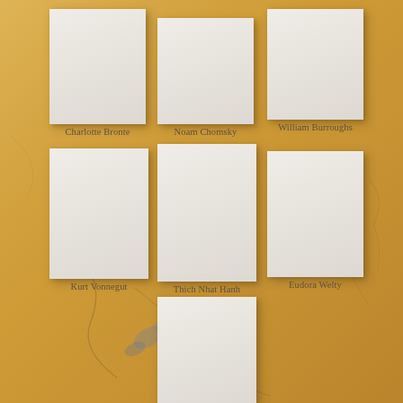[Figure (illustration): Grid of 7 blank white book/card placeholders arranged on an aged yellowed paper background with visible cracks and stains. Three cards in the first row, three in the second row, one centered in the third row. Each card has a name label beneath it.]
Charlotte Bronte
Noam Chomsky
William Burroughs
Kurt Vonnegut
Thich Nhat Hanh
Eudora Welty
Nietzsche